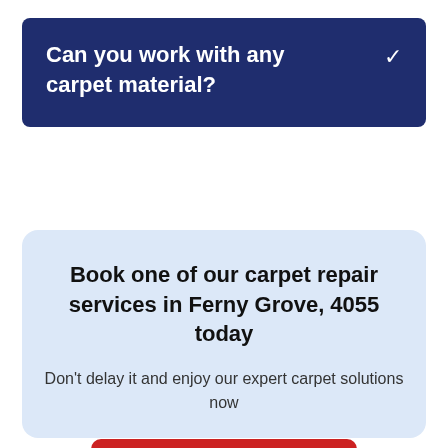Can you work with any carpet material?
Book one of our carpet repair services in Ferny Grove, 4055 today
Don't delay it and enjoy our expert carpet solutions now
BOOK NOW